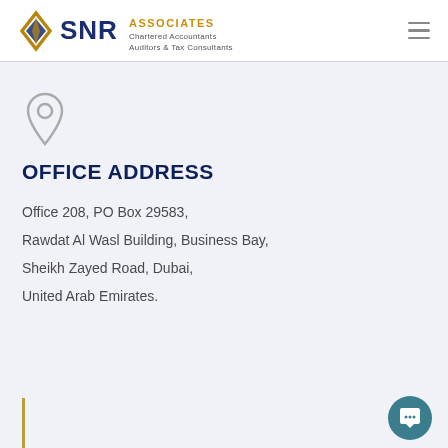[Figure (logo): SNR Associates logo with diamond icon in dark blue and gold, text 'SNR ASSOCIATES Chartered Accountants Auditors & Tax Consultants']
OFFICE ADDRESS
Office 208, PO Box 29583,
Rawdat Al Wasl Building, Business Bay,
Sheikh Zayed Road, Dubai,
United Arab Emirates.